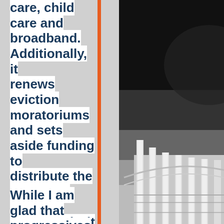care, child care and broadband. Additionally, it renews eviction moratoriums and sets aside funding to distribute the COVID-19 vaccine. Importantly, it also finally makes mixed-status families eligible for survival checks and ensures they can retroactively receive the relief check that they were previously excluded from.
[Figure (photo): Black and white photo of the US Capitol building columns, visible on the right side of the page with dark background at top transitioning to white columns at bottom right.]
While I am glad that progressives were able to